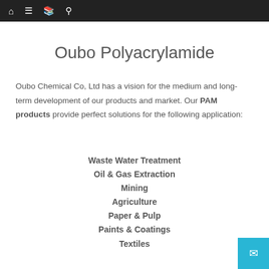Navigation bar with home, menu, book, and search icons
Oubo Polyacrylamide
Oubo Chemical Co, Ltd has a vision for the medium and long-term development of our products and market. Our PAM products provide perfect solutions for the following application:
Waste Water Treatment
Oil & Gas Extraction
Mining
Agriculture
Paper & Pulp
Paints & Coatings
Textiles